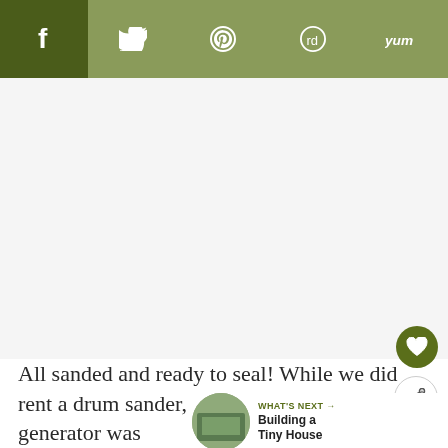[Figure (infographic): Social media share bar with buttons: Facebook (dark olive), Twitter, Pinterest, Reddit, Yummly (all sage green) with white icons]
[Figure (other): Large white/light gray advertisement placeholder area]
[Figure (other): Floating heart (favorite) button — dark olive green circle with white heart icon]
[Figure (other): Floating share button — white circle with share/network icon]
[Figure (other): What's Next widget with thumbnail image and text: WHAT'S NEXT → Building a Tiny House]
All sanded and ready to seal!  While we did rent a drum sander, we found that our generator was